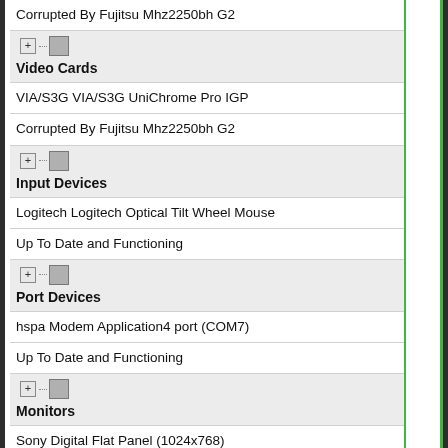Corrupted By Fujitsu Mhz2250bh G2
Video Cards
VIA/S3G VIA/S3G UniChrome Pro IGP
Corrupted By Fujitsu Mhz2250bh G2
Input Devices
Logitech Logitech Optical Tilt Wheel Mouse
Up To Date and Functioning
Port Devices
hspa Modem Application4 port (COM7)
Up To Date and Functioning
Monitors
Sony Digital Flat Panel (1024x768)
Outdated
Mobile Phones And Portable Devices
Acer NOKIA